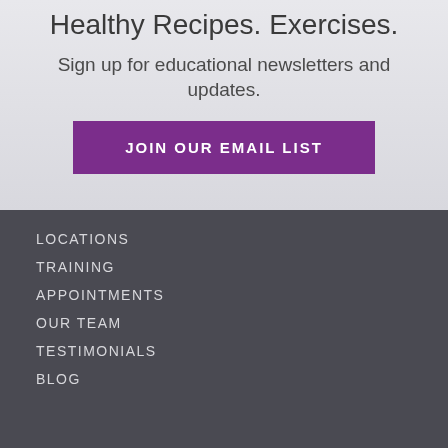Healthy Recipes. Exercises.
Sign up for educational newsletters and updates.
JOIN OUR EMAIL LIST
LOCATIONS
TRAINING
APPOINTMENTS
OUR TEAM
TESTIMONIALS
BLOG